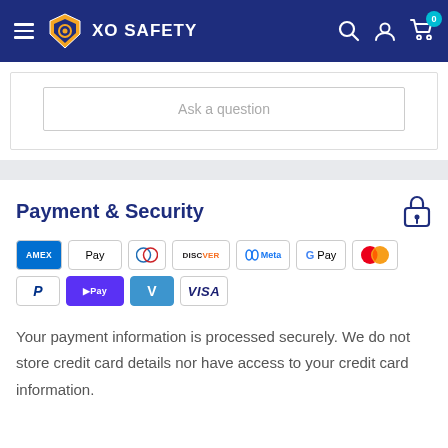XO SAFETY
[Figure (screenshot): Ask a question button inside a bordered box]
Payment & Security
[Figure (infographic): Payment method icons: American Express, Apple Pay, Diners Club, Discover, Meta, Google Pay, Mastercard, PayPal, Shop Pay, Venmo, Visa]
Your payment information is processed securely. We do not store credit card details nor have access to your credit card information.